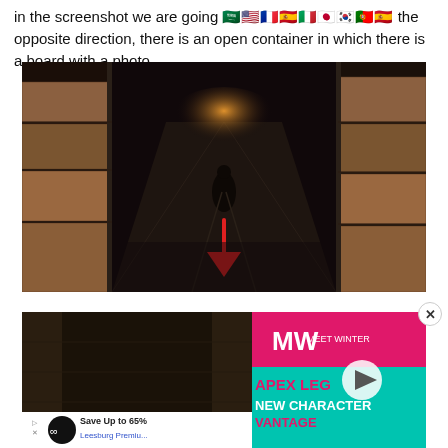in the screenshot we are going in the opposite direction, there is an open container in which there is a board with a photo.
[Figure (screenshot): Dark warehouse/shipping container area screenshot from a video game, showing a corridor with stacked boxes/containers on both sides, a character in the middle, and a red arrow pointing downward in the foreground.]
[Figure (screenshot): Composite image showing a dark corridor screenshot on the left and an advertisement on the right: Apex Legends New Character Vantage ad with MW logo, alongside a Leesburg Premium Outlets ad saying Save Up to 65%.]